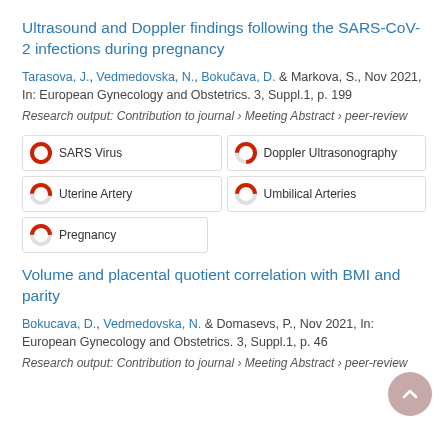Ultrasound and Doppler findings following the SARS-CoV-2 infections during pregnancy
Tarasova, J., Vedmedovska, N., Bokučava, D. & Markova, S., Nov 2021, In: European Gynecology and Obstetrics. 3, Suppl.1, p. 199
Research output: Contribution to journal › Meeting Abstract › peer-review
SARS Virus
Doppler Ultrasonography
Uterine Artery
Umbilical Arteries
Pregnancy
Volume and placental quotient correlation with BMI and parity
Bokucava, D., Vedmedovska, N. & Domasevs, P., Nov 2021, In: European Gynecology and Obstetrics. 3, Suppl.1, p. 46
Research output: Contribution to journal › Meeting Abstract › peer-review